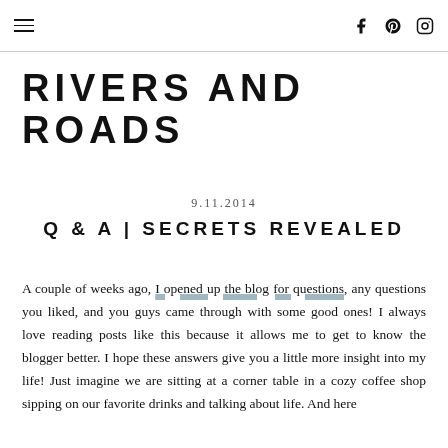≡   f   pinterest  instagram
RIVERS AND ROADS
9.11.2014
Q & A | SECRETS REVEALED
A couple of weeks ago, I opened up the blog for questions, any questions you liked, and you guys came through with some good ones! I always love reading posts like this because it allows me to get to know the blogger better. I hope these answers give you a little more insight into my life! Just imagine we are sitting at a corner table in a cozy coffee shop sipping on our favorite drinks and talking about life. And here